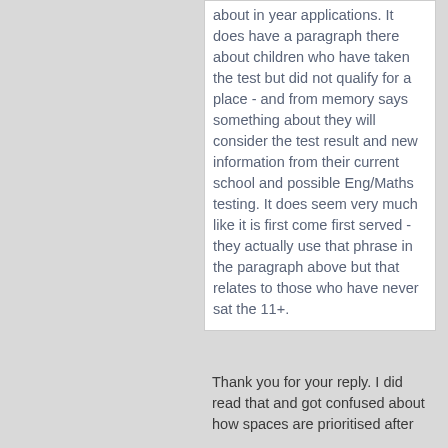about in year applications. It does have a paragraph there about children who have taken the test but did not qualify for a place - and from memory says something about they will consider the test result and new information from their current school and possible Eng/Maths testing. It does seem very much like it is first come first served - they actually use that phrase in the paragraph above but that relates to those who have never sat the 11+.
Thank you for your reply. I did read that and got confused about how spaces are prioritised after